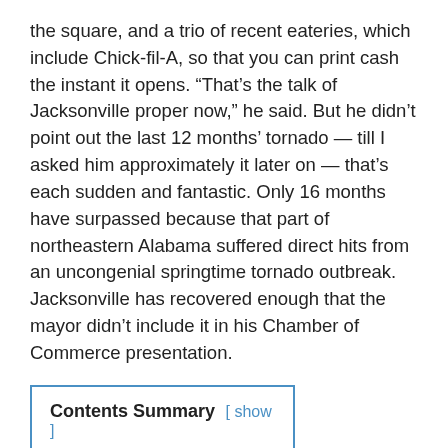the square, and a trio of recent eateries, which include Chick-fil-A, so that you can print cash the instant it opens. “That’s the talk of Jacksonville proper now,” he said. But he didn’t point out the last 12 months’ tornado — till I asked him approximately it later on — that’s each sudden and fantastic. Only 16 months have surpassed because that part of northeastern Alabama suffered direct hits from an uncongenial springtime tornado outbreak. Jacksonville has recovered enough that the mayor didn’t include it in his Chamber of Commerce presentation.
| Contents Summary | [ show ] |
Related Posts